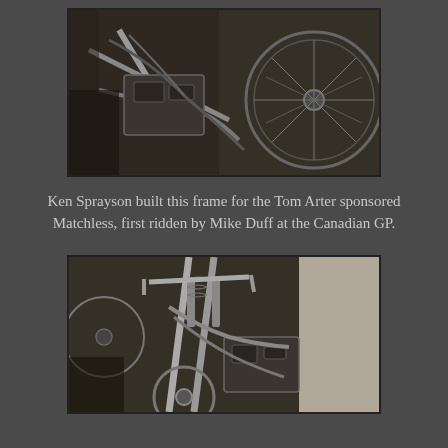[Figure (photo): Black and white photograph showing close-up detail of a motorcycle frame, engine components, tubes and wheel, workshop setting.]
Ken Sprayson built this frame for the Tom Arter sponsored Matchless, first ridden by Mike Duff at the Canadian GP.
[Figure (photo): Black and white photograph showing a motorcycle front forks, handlebars, engine and frame in a workshop, another motorcycle visible in background.]